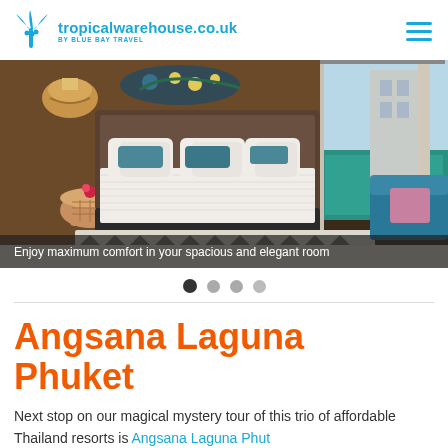tropicalwarehouse.co.uk BY BLUE BAY TRAVEL
[Figure (photo): Hotel room with large bed, white linens, teal pillows, woven side table, patterned rug, and view of outdoor pool through glass doors. Caption: Enjoy maximum comfort in your spacious and elegant room]
Angsana Laguna Phuket
Next stop on our magical mystery tour of this trio of affordable Thailand resorts is Angsana Laguna Phuket